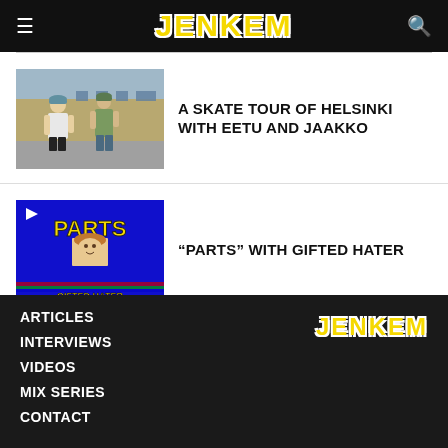JENKEM
[Figure (photo): Two people standing outdoors in front of a brick building, wearing caps and casual clothes]
A SKATE TOUR OF HELSINKI WITH EETU AND JAAKKO
[Figure (screenshot): VHS-style blue thumbnail for 'PARTS with GIFTED HATER' video, with play button icon and person's face visible]
“PARTS” WITH GIFTED HATER
ARTICLES
INTERVIEWS
VIDEOS
MIX SERIES
CONTACT
JENKEM